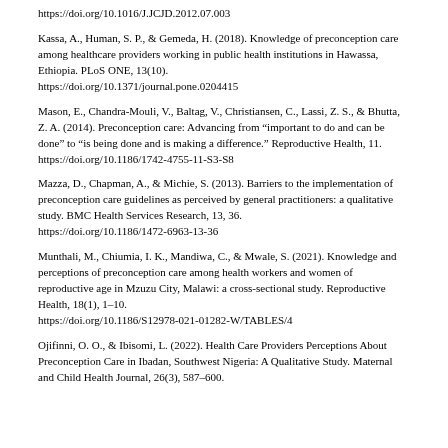https://doi.org/10.1016/J.JCJD.2012.07.003
Kassa, A., Human, S. P., & Gemeda, H. (2018). Knowledge of preconception care among healthcare providers working in public health institutions in Hawassa, Ethiopia. PLoS ONE, 13(10). https://doi.org/10.1371/journal.pone.0204415
Mason, E., Chandra-Mouli, V., Baltag, V., Christiansen, C., Lassi, Z. S., & Bhutta, Z. A. (2014). Preconception care: Advancing from "important to do and can be done" to "is being done and is making a difference." Reproductive Health, 11. https://doi.org/10.1186/1742-4755-11-S3-S8
Mazza, D., Chapman, A., & Michie, S. (2013). Barriers to the implementation of preconception care guidelines as perceived by general practitioners: a qualitative study. BMC Health Services Research, 13, 36. https://doi.org/10.1186/1472-6963-13-36
Munthali, M., Chiumia, I. K., Mandiwa, C., & Mwale, S. (2021). Knowledge and perceptions of preconception care among health workers and women of reproductive age in Mzuzu City, Malawi: a cross-sectional study. Reproductive Health, 18(1), 1–10. https://doi.org/10.1186/S12978-021-01282-W/TABLES/4
Ojifinni, O. O., & Ibisomi, L. (2022). Health Care Providers Perceptions About Preconception Care in Ibadan, Southwest Nigeria: A Qualitative Study. Maternal and Child Health Journal, 26(3), 587–600.